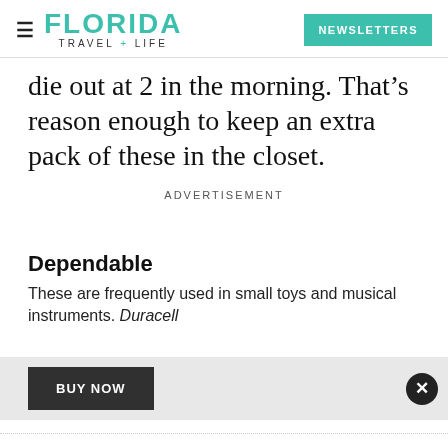FLORIDA TRAVEL + LIFE | NEWSLETTERS
die out at 2 in the morning. That’s reason enough to keep an extra pack of these in the closet.
ADVERTISEMENT
Dependable
These are frequently used in small toys and musical instruments. Duracell
BUY NOW